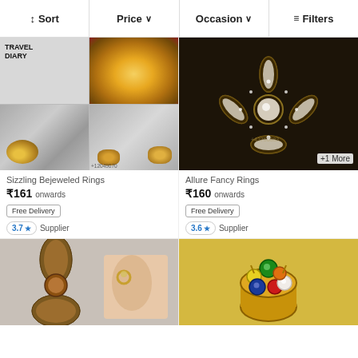↓↑ Sort   Price ∨   Occasion ∨   ≡ Filters
[Figure (photo): Sizzling Bejeweled Rings product collage - gold flower rings on grey cloth with TRAVEL DIARY label]
Sizzling Bejeweled Rings
₹161 onwards
Free Delivery
3.7 ★ Supplier
[Figure (photo): Allure Fancy Rings - diamond flower ring on dark background, +1 More badge]
Allure Fancy Rings
₹160 onwards
Free Delivery
3.6 ★ Supplier
[Figure (photo): Bronze/gold four-petal flower ring with a hand wearing a ring in background]
[Figure (photo): Navratna style ring with multiple colored gemstones on gold band]